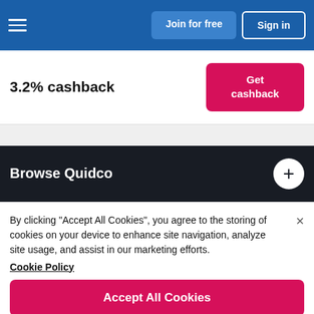Join for free | Sign in
3.2% cashback
Get cashback
Browse Quidco
By clicking "Accept All Cookies", you agree to the storing of cookies on your device to enhance site navigation, analyze site usage, and assist in our marketing efforts. Cookie Policy
Accept All Cookies
Cookies Settings